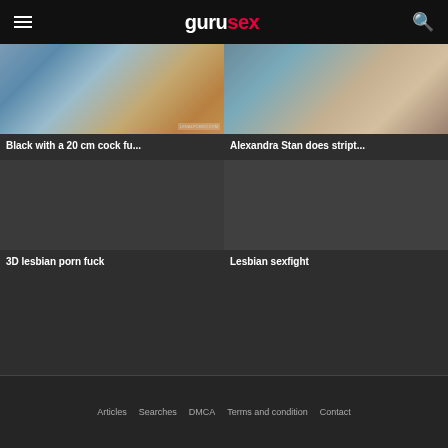gurusex
[Figure (photo): Thumbnail image for video: Black with a 20 cm cock fu...]
Black with a 20 cm cock fu...
[Figure (photo): Thumbnail image for video: Alexandra Stan does stript...]
Alexandra Stan does stript...
[Figure (photo): Thumbnail image for video: 3D lesbian porn fuck]
3D lesbian porn fuck
[Figure (photo): Thumbnail image for video: Lesbian sexfight]
Lesbian sexfight
Articles   Searches   DMCA   Terms and condition   Contact